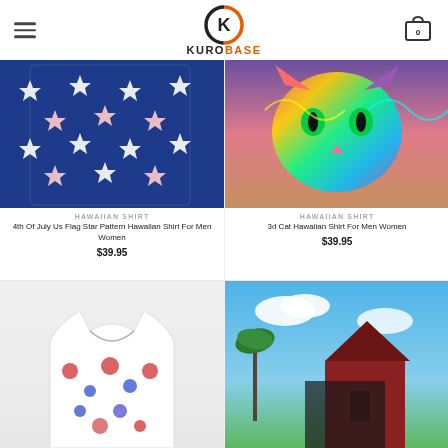KUROBASE
[Figure (photo): 4th of July US flag star pattern Hawaiian shirt on a navy blue background]
HAWAIIAN SHIRT
4th Of July Us Flag Star Pattern Hawaiian Shirt For Men Women
$39.95
[Figure (photo): 3D colorful cat face Hawaiian shirt for men women]
HAWAIIAN SHIRT
3d Cat Hawaiian Shirt For Men Women
$39.95
[Figure (photo): Hawaiian shirt with floral/americana pattern, partially visible]
[Figure (photo): Hawaiian shirt with beach/tropical background scene, partially visible]